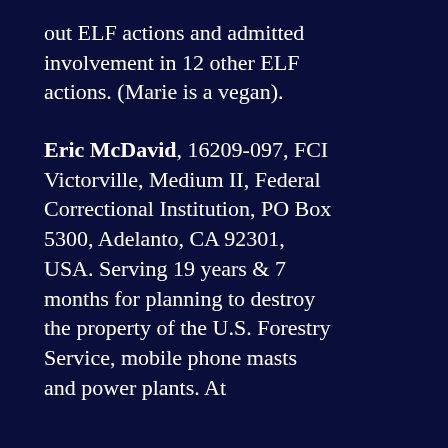out ELF actions and admitted involvement in 12 other ELF actions. (Marie is a vegan).
Eric McDavid, 16209-097, FCI Victorville, Medium II, Federal Correctional Institution, PO Box 5300, Adelanto, CA 92301, USA. Serving 19 years & 7 months for planning to destroy the property of the U.S. Forestry Service, mobile phone masts and power plants. At